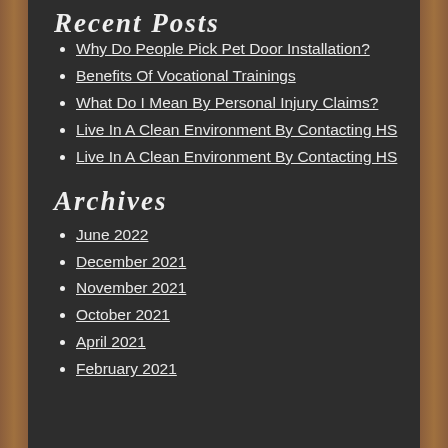Recent Posts
Why Do People Pick Pet Door Installation?
Benefits Of Vocational Trainings
What Do I Mean By Personal Injury Claims?
Live In A Clean Environment By Contacting HS
Live In A Clean Environment By Contacting HS
Archives
June 2022
December 2021
November 2021
October 2021
April 2021
February 2021